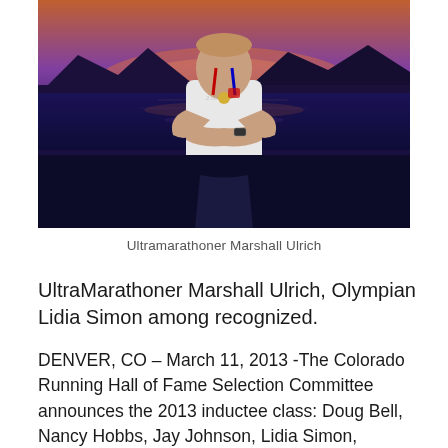[Figure (photo): Photograph of ultramarathoner Marshall Ulrich standing with arms crossed, wearing a white sleeveless shirt with a medal around his neck, against a backdrop of a lake and mountain silhouettes at dusk/sunset with deep blue and orange hues.]
Ultramarathoner Marshall Ulrich
UltraMarathoner Marshall Ulrich, Olympian Lidia Simon among recognized.
DENVER, CO – March 11, 2013 -The Colorado Running Hall of Fame Selection Committee announces the 2013 inductee class: Doug Bell, Nancy Hobbs, Jay Johnson, Lidia Simon, Marshall Ulrich, and Jane Welzel. The Colorado Running Hall of Fame recognizes Colorado residents for their achievement and contribution to the